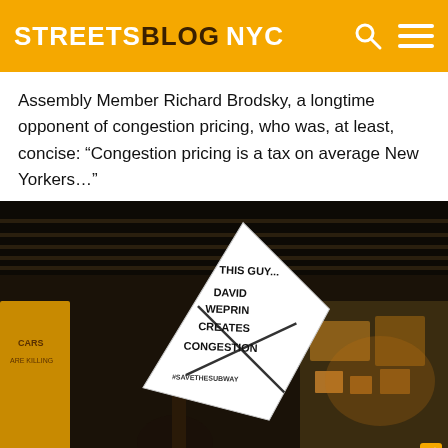STREETSBLOG NYC
Assembly Member Richard Brodsky, a longtime opponent of congestion pricing, who was, at least, concise: “Congestion pricing is a tax on average New Yorkers…”
[Figure (photo): Protest photo showing a person holding a white diamond-shaped sign reading: THIS GUY... DAVID WEPRIN CREATES CONGESTION #SAVETHESUBWAY. Scene appears to be under an elevated structure with city lights in the background.]